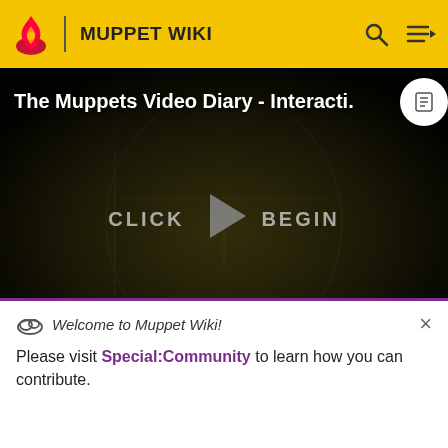MUPPET WIKI
[Figure (screenshot): Video player showing 'The Muppets Video Diary - Interacti...' with a Kermit the Frog da Vinci-style sketch as thumbnail. Large play button in center, 'CLICK BEGIN' text, NaN:NaN duration display.]
|  | Muppet History ) We Think |
Welcome to Muppet Wiki!
Please visit Special:Community to learn how you can contribute.